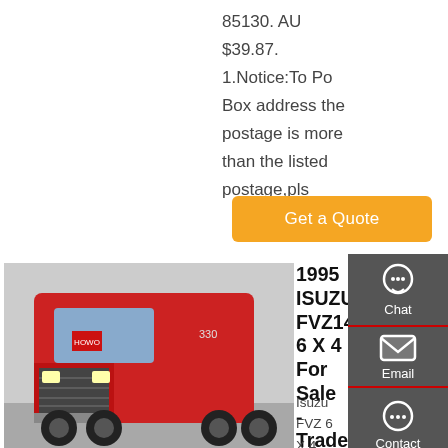85130. AU $39.87. 1.Notice:To Po Box address the postage is more than the listed postage,pls
[Figure (other): Orange 'Get a Quote' button]
[Figure (photo): Red HOWO truck front view photo]
1995 ISUZU FVZ1400 6 X 4 For Sale - Tradetrucks.Com.Au
Isuzu FVZ 6 X 4 Tipper, 1995 model, Travelled 391500 Klms, 6 cylinder diesel motor with a 9 speed transmission with lo-lo function, Seats 3 on cloth trim